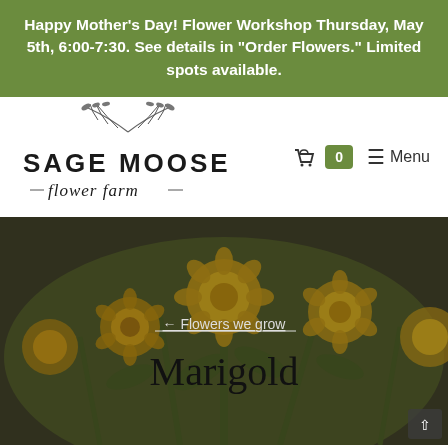Happy Mother's Day! Flower Workshop Thursday, May 5th, 6:00-7:30. See details in "Order Flowers." Limited spots available.
[Figure (logo): Sage Moose Flower Farm logo with botanical branch illustration above the text]
0   ≡ Menu
[Figure (photo): Close-up photo of yellow marigold flowers with green foliage, slightly darkened/muted]
← Flowers we grow
Marigold